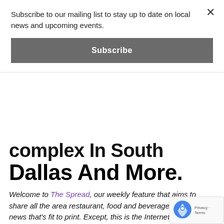Subscribe to our mailing list to stay up to date on local news and upcoming events.
Subscribe
complex In South Dallas And More.
Welcome to The Spread, our weekly feature that aims to share all the area restaurant, food and beverage industry news that's fit to print. Except, this is the Internet, so space isn't a concern. Also: Good thing, because this is Dallas and this town always has breaking restaurant news going down like whoa.
Fourth of July is coming up in less than a week and while we're not jumping at the opportunity to celebrate the U.S due to regressions, we might as well take advantage of all food and drink specials this consumerist holiday brings.